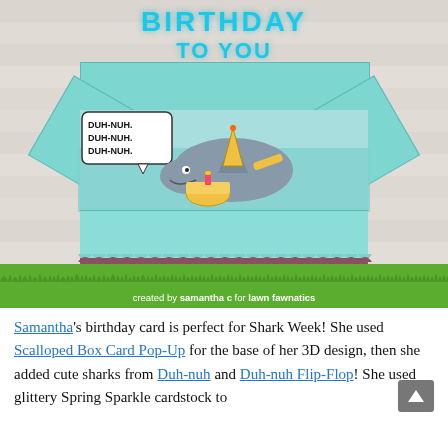[Figure (photo): A birthday card box pop-up craft featuring a 3D scalloped box card with teal/mint colored flaps, a mauve/pink box base, cute illustrated sharks wearing party hats inside the box, a speech bubble saying 'DUH-NUH. DUH-NUH. DUH-NUH.', and glittery blue 'HAPPY BIRTHDAY TO YOU' die-cut letters on top. A green grass banner at the bottom reads 'created by samantha c for lawn fawnatics'.]
Samantha's birthday card is perfect for Shark Week! She used Scalloped Box Card Pop-Up for the base of her 3D design, then she added cute sharks from Duh-nuh and Duh-nuh Flip-Flop! She used glittery Spring Sparkle cardstock to